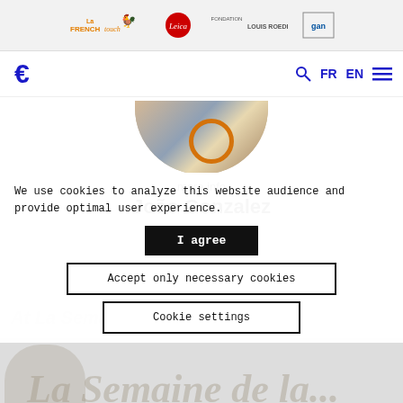La FRENCH touch | Leica | Fondation Louis Roederer | Gan
[Figure (screenshot): Website navigation bar with circular C logo, search icon, FR EN language toggle, and hamburger menu in dark blue]
[Figure (photo): Circular profile photo of João Gonzalez, partially cropped at top, showing clothing with orange/cream colors]
more info
João Gonzalez
We use cookies to analyze this website audience and provide optimal user experience.
I agree
Accept only necessary cookies
Cookie settings
At La Semaine de La Critique